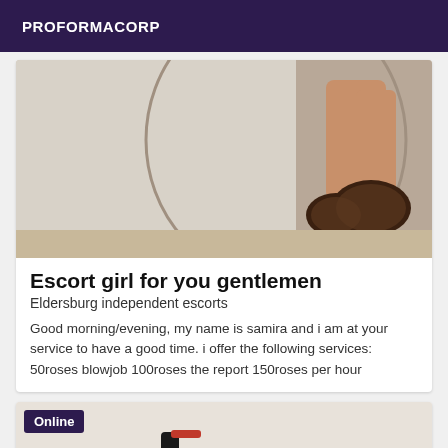PROFORMACORP
[Figure (photo): Close-up photo of a person's legs/feet wearing patterned shoes, shot from above against a light wall background]
Escort girl for you gentlemen
Eldersburg independent escorts
Good morning/evening, my name is samira and i am at your service to have a good time. i offer the following services: 50roses blowjob 100roses the report 150roses per hour
[Figure (photo): Partial photo showing what appears to be a red and black object (shoe or accessory) against a light background, with an 'Online' badge overlay]